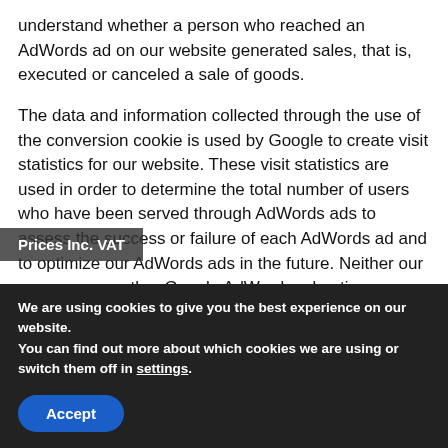understand whether a person who reached an AdWords ad on our website generated sales, that is, executed or canceled a sale of goods.
The data and information collected through the use of the conversion cookie is used by Google to create visit statistics for our website. These visit statistics are used in order to determine the total number of users who have been served through AdWords ads to assess the success or failure of each AdWords ad and to optimize our AdWords ads in the future. Neither our company nor other Google AdWords advertisers receive information from Google that
Prices Inc. VAT
We are using cookies to give you the best experience on our website.
You can find out more about which cookies we are using or switch them off in settings.
Accept